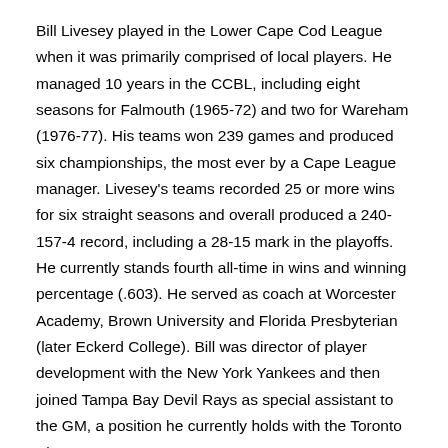Bill Livesey played in the Lower Cape Cod League when it was primarily comprised of local players. He managed 10 years in the CCBL, including eight seasons for Falmouth (1965-72) and two for Wareham (1976-77). His teams won 239 games and produced six championships, the most ever by a Cape League manager. Livesey's teams recorded 25 or more wins for six straight seasons and overall produced a 240-157-4 record, including a 28-15 mark in the playoffs. He currently stands fourth all-time in wins and winning percentage (.603). He served as coach at Worcester Academy, Brown University and Florida Presbyterian (later Eckerd College). Bill was director of player development with the New York Yankees and then joined Tampa Bay Devil Rays as special assistant to the GM, a position he currently holds with the Toronto Blue Jays.
Paul Mitchell, Pitcher, Falmouth Commodores
Paul Mitchell was the pitching ace of the Falmouth Commodores from 1969-71. The hard-throwing right-hander compiled a superlative